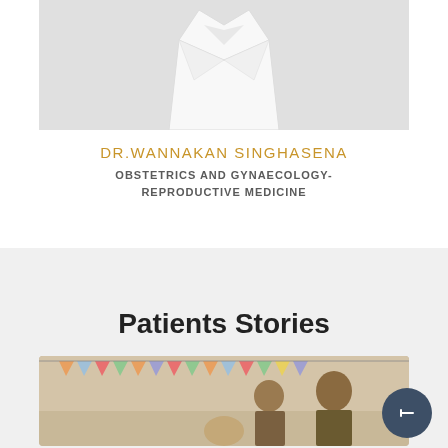[Figure (photo): Photo of Dr. Wannakan Singhasena in a white medical coat, cropped showing lower portion of coat]
DR.WANNAKAN SINGHASENA
OBSTETRICS AND GYNAECOLOGY- REPRODUCTIVE MEDICINE
Patients Stories
[Figure (photo): Photo of patients/family at a colorful bunting-decorated celebration event, with a man visible on the right side]